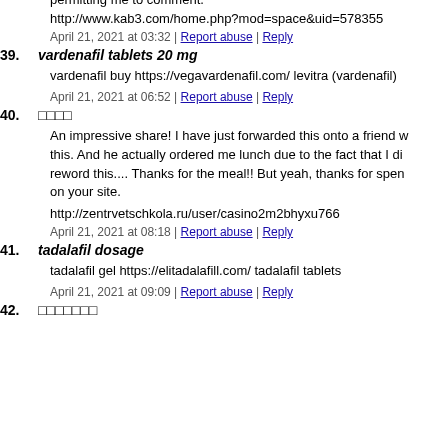permitting me to comment.
http://www.kab3.com/home.php?mod=space&uid=578355
April 21, 2021 at 03:32 | Report abuse | Reply
39. vardenafil tablets 20 mg
vardenafil buy https://vegavardenafil.com/ levitra (vardenafil)
April 21, 2021 at 06:52 | Report abuse | Reply
40.     
An impressive share! I have just forwarded this onto a friend w this. And he actually ordered me lunch due to the fact that I di reword this.... Thanks for the meal!! But yeah, thanks for spen on your site.
http://zentrvetschkola.ru/user/casino2m2bhyxu766
April 21, 2021 at 08:18 | Report abuse | Reply
41. tadalafil dosage
tadalafil gel https://elitadalafill.com/ tadalafil tablets
April 21, 2021 at 09:09 | Report abuse | Reply
42.        